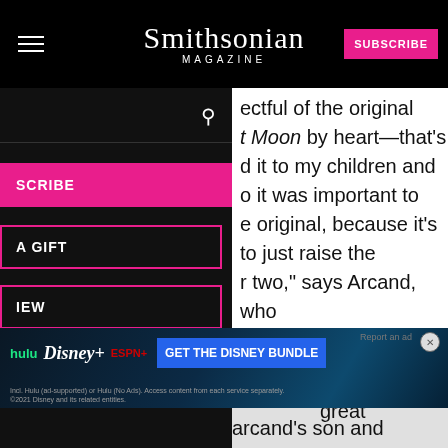Smithsonian MAGAZINE
[Figure (screenshot): Navigation menu overlay with search bar, pink SUBSCRIBE button, A GIFT outlined button, and IEW outlined button on dark background]
ectful of the original t Moon by heart—that's d it to my children and o it was important to e original, because it's to just raise the r two," says Arcand, who hide what she calls the book's illustrations.
[Figure (screenshot): Disney Bundle advertisement banner showing Hulu, Disney+, ESPN+ logos and GET THE DISNEY BUNDLE call-to-action button]
great
arcand's son and
Science